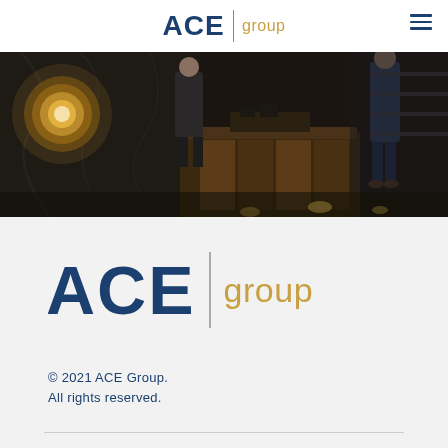ACE | group
[Figure (photo): Interior photo of a hotel or office reception/lobby with dark marble surfaces, wooden paneling, and people standing near a reception desk. Warm ambient lighting with a decorative circular element visible on the left.]
[Figure (logo): ACE group logo — 'ACE' in large bold dark navy blue letters, a thin vertical divider line, and 'group' in smaller golden/amber text]
© 2021 ACE Group.
All rights reserved.